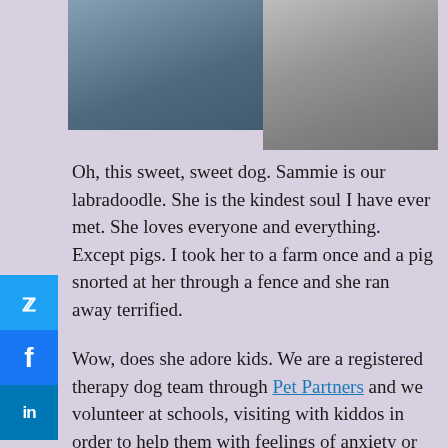[Figure (photo): Photo of a black dog (likely a labradoodle) sitting in what appears to be a school or classroom setting, partial view cropped at top]
[Figure (photo): Photo of a grey/silver curly-haired dog (labradoodle) standing, cropped at top]
Oh, this sweet, sweet dog. Sammie is our labradoodle. She is the kindest soul I have ever met. She loves everyone and everything. Except pigs. I took her to a farm once and a pig snorted at her through a fence and she ran away terrified.
Wow, does she adore kids. We are a registered therapy dog team through Pet Partners and we volunteer at schools, visiting with kiddos in order to help them with feelings of anxiety or struggles with bullying or offering comfort after traumatic events. She just knows. She is